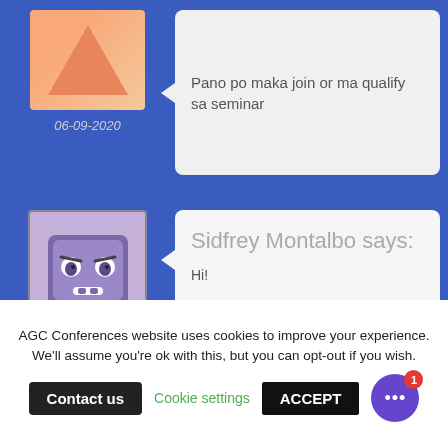Pano po maka join or ma qualify sa seminar
06-09-2020
Sidfrey Montalbo says:
18-08-2020
Hi!

Can you send details of the September 30 training on Doc Management Training Course?

Thank you.
Bea says:
AGC Conferences website uses cookies to improve your experience. We'll assume you're ok with this, but you can opt-out if you wish.
Contact us
Cookie settings
ACCEPT